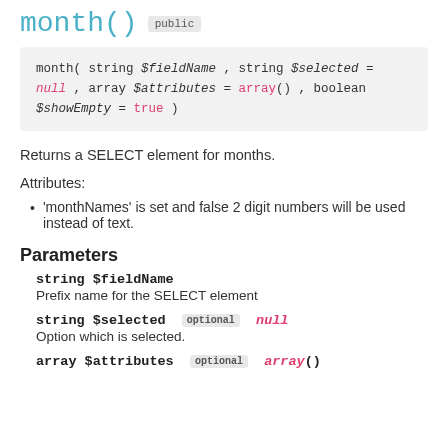month() public
Returns a SELECT element for months.
Attributes:
'monthNames' is set and false 2 digit numbers will be used instead of text.
Parameters
string $fieldName
Prefix name for the SELECT element
string $selected optional null
Option which is selected.
array $attributes optional array()